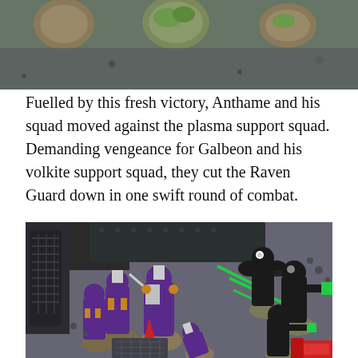[Figure (photo): Top portion of a photo showing miniature figurines on bases, viewed from above on a grey surface.]
Fuelled by this fresh victory, Anthame and his squad moved against the plasma support squad. Demanding vengeance for Galbeon and his volkite support squad, they cut the Raven Guard down in one swift round of combat.
[Figure (photo): Photo of painted Warhammer miniature figurines engaged in close combat. Purple and gold Space Marine figures fight against black-armored Raven Guard figures on a dark terrain board near a vehicle.]